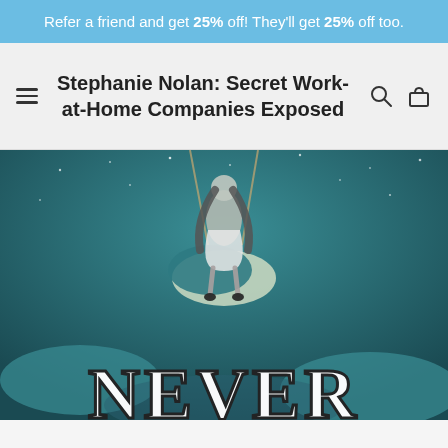Refer a friend and get 25% off! They'll get 25% off too.
Stephanie Nolan: Secret Work-at-Home Companies Exposed
[Figure (screenshot): Book cover showing a girl sitting on a crescent moon hanging from ropes against a teal starry sky background, with the word NEVER in large stylized white letters at the bottom.]